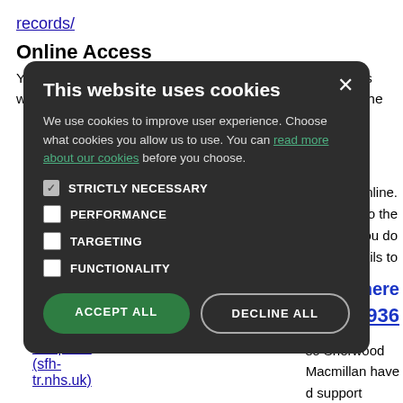records/
Online Access
You can register to view your electronic medical record as well as book appointments (currently unavailable due to the [partial] …ptions online. …ID to the …ask that you do …nt details to
– Click here
3936
so Sherwood Macmillan have d support e information:
[Figure (screenshot): Cookie consent modal dialog with dark background. Title: 'This website uses cookies'. Body text: 'We use cookies to improve user experience. Choose what cookies you allow us to use. You can read more about our cookies before you choose.' Checkboxes: STRICTLY NECESSARY (checked), PERFORMANCE, TARGETING, FUNCTIONALITY. Buttons: ACCEPT ALL (green), DECLINE ALL (outline).]
Sherwood Forest Hospitals (sfh-tr.nhs.uk)